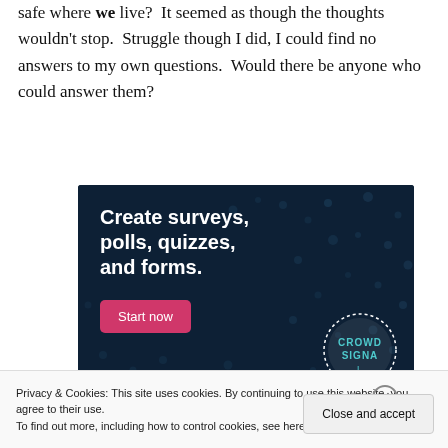safe where we live?  It seemed as though the thoughts wouldn't stop.  Struggle though I did, I could find no answers to my own questions.  Would there be anyone who could answer them?
[Figure (infographic): Advertisement banner with dark navy background and dot pattern. Text reads 'Create surveys, polls, quizzes, and forms.' with a pink 'Start now' button and a CrowdSignal logo in the bottom right corner.]
Privacy & Cookies: This site uses cookies. By continuing to use this website, you agree to their use.
To find out more, including how to control cookies, see here: Cookie Policy